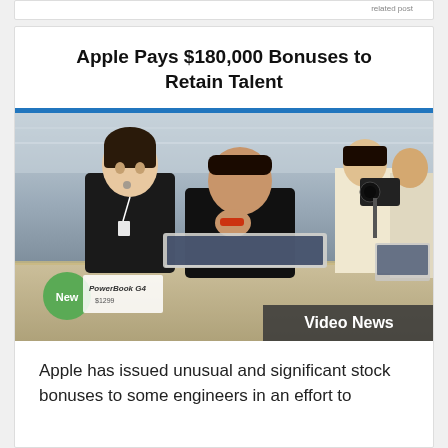Apple Pays $180,000 Bonuses to Retain Talent
[Figure (photo): Apple Store employees in black uniforms looking at a PowerBook G4 laptop on a display table. A 'New' green circle badge and a 'PowerBook G4' sign are visible. A 'Video News' badge appears in the bottom-right corner.]
Apple has issued unusual and significant stock bonuses to some engineers in an effort to